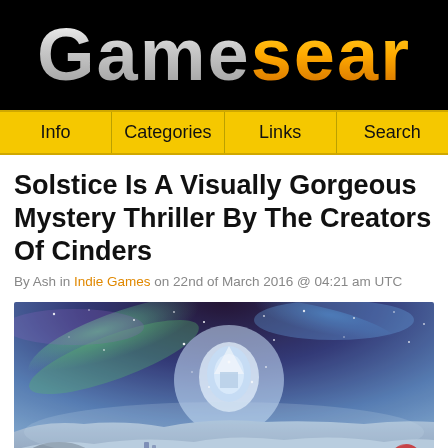Gamesear
Info
Categories
Links
Search
Solstice Is A Visually Gorgeous Mystery Thriller By The Creators Of Cinders
By Ash in Indie Games on 22nd of March 2016 @ 04:21 am UTC
[Figure (illustration): Fantasy landscape with aurora borealis/northern lights in the night sky, a glowing crystalline structure or building in the center-background, snow-covered terrain in the foreground with rocks and ruins, colorful starry sky with green and blue hues, decorative red flora on the right edge.]